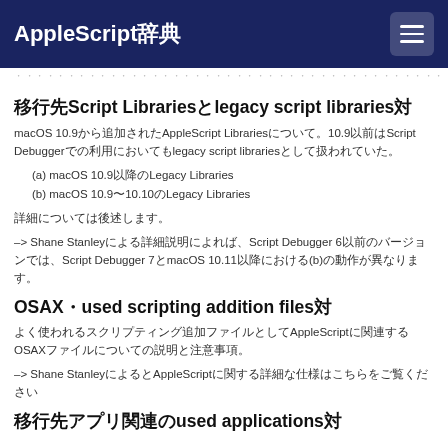AppleScript辞典
（区切り線の点列）
移行先Script Librariesとlegacy script librariesの
macOS 10.9から追加されたAppleScript Librariesについて。10.9以前のScript Debuggerでの利用例や、それ以前のlegacy script librariesについての説明。
(a) macOS 10.9以降のLegacy Libraries
(b) macOS 10.9〜10.10のLegacy Libraries
詳細については後述します。
–> Shane Stanleyによる説明によれば、Script Debugger 6以前のバージョンでは、Script Debugger 7とmacOS 10.11以降における(b)の動作が異なります。
OSAXと used scripting addition filesの
よく使われるスクリプティング追加機能AppleScriptに関連するOSAXファイルについての説明と注意事項。
–> Shane StanleyによるとAppleScriptに関する詳細な仕様はこちらをご覧ください
移行先アプリ関連のused applicationsの